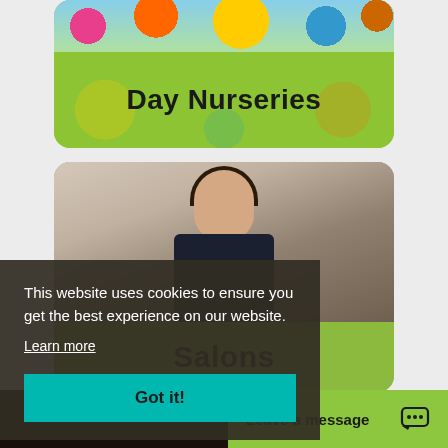[Figure (photo): Card showing colorful playground toys at top with green background labeled Day Nurseries]
Day Nurseries
[Figure (photo): Card showing a woman in dark clothing looking down, with green overlay labeled Salons]
Salons
This website uses cookies to ensure you get the best experience on our website.
Learn more
Got it!
Leave a message